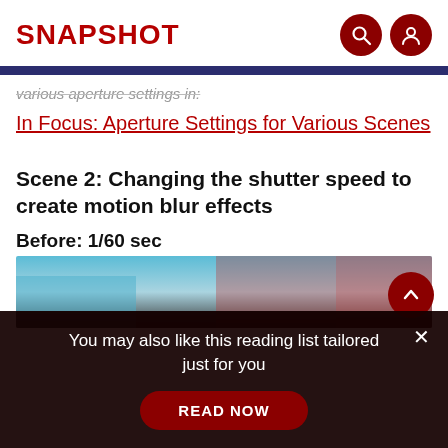SNAPSHOT
various aperture settings in:
In Focus: Aperture Settings for Various Scenes
Scene 2: Changing the shutter speed to create motion blur effects
Before: 1/60 sec
[Figure (photo): Partial photo showing a building facade with blue sky and red flowers, partially cut off]
You may also like this reading list tailored just for you
READ NOW